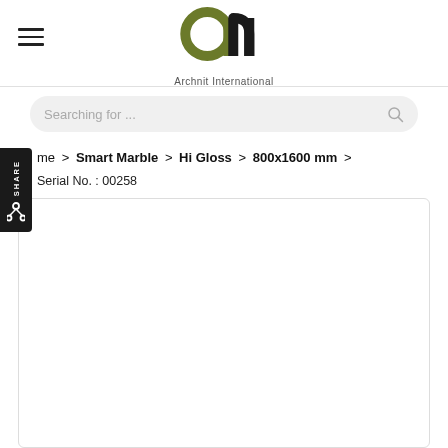[Figure (logo): Archnit International logo — stylized 'an' letters in olive green and black with company name below]
Searching for ...
me > Smart Marble > Hi Gloss > 800x1600 mm >
Serial No. : 00258
[Figure (photo): Product image placeholder (white/empty area with light border)]